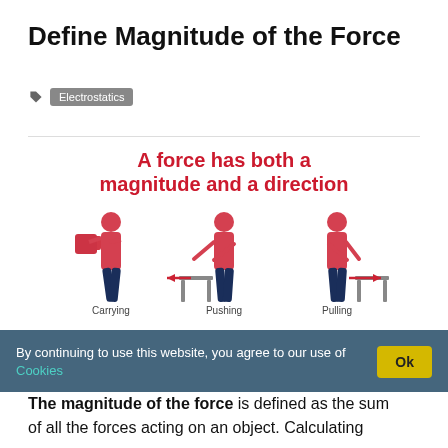Define Magnitude of the Force
Electrostatics
[Figure (illustration): Infographic showing 'A force has both a magnitude and a direction' in red bold text, with three illustrated figures: a person carrying a box, a person pushing a table (force arrow pointing left), and a person pulling a table (force arrow pointing right). Labels beneath read: Carrying, Pushing, Pulling.]
By continuing to use this website, you agree to our use of Cookies
The magnitude of the force is defined as the sum of all the forces acting on an object. Calculating